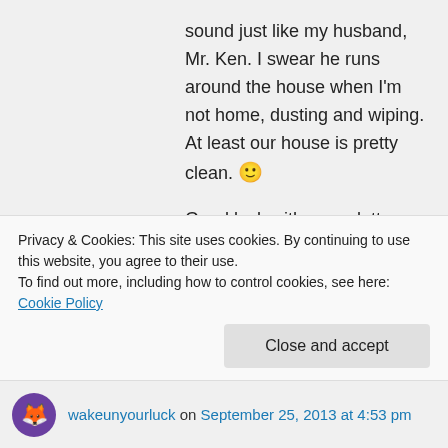sound just like my husband, Mr. Ken. I swear he runs around the house when I'm not home, dusting and wiping. At least our house is pretty clean. 🙂

Good luck with your clutter-free environment. 🙂

Nancy
★ Like
↪ Reply
Privacy & Cookies: This site uses cookies. By continuing to use this website, you agree to their use.
To find out more, including how to control cookies, see here: Cookie Policy
Close and accept
wakeunyourluck on September 25, 2013 at 4:53 pm